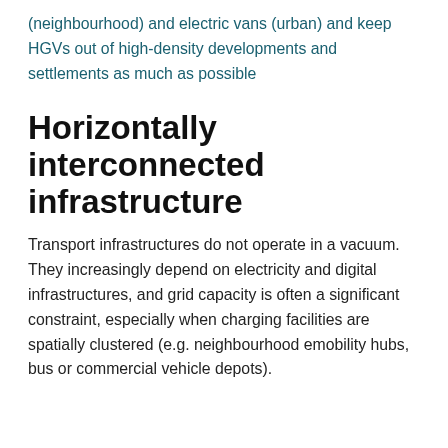(neighbourhood) and electric vans (urban) and keep HGVs out of high-density developments and settlements as much as possible
Horizontally interconnected infrastructure
Transport infrastructures do not operate in a vacuum. They increasingly depend on electricity and digital infrastructures, and grid capacity is often a significant constraint, especially when charging facilities are spatially clustered (e.g. neighbourhood emobility hubs, bus or commercial vehicle depots).